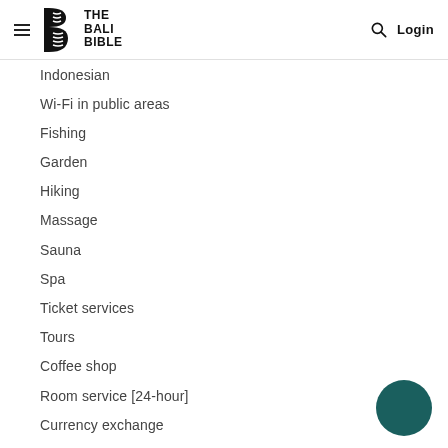THE BALI BIBLE — Login
Indonesian
Wi-Fi in public areas
Fishing
Garden
Hiking
Massage
Sauna
Spa
Ticket services
Tours
Coffee shop
Room service [24-hour]
Currency exchange
Daily housekeeping